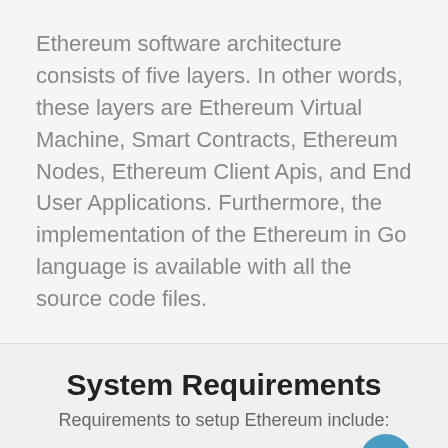Ethereum software architecture consists of five layers. In other words, these layers are Ethereum Virtual Machine, Smart Contracts, Ethereum Nodes, Ethereum Client Apis, and End User Applications. Furthermore, the implementation of the Ethereum in Go language is available with all the source code files.
System Requirements
Requirements to setup Ethereum include:
Homebrew (for macOS)